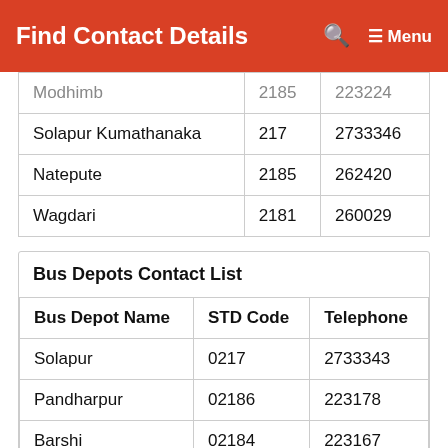Find Contact Details   🔍   ☰ Menu
|  |  |  |
| --- | --- | --- |
| Modhimb | 2185 | 223224 |
| Solapur Kumathanaka | 217 | 2733346 |
| Natepute | 2185 | 262420 |
| Wagdari | 2181 | 260029 |
Bus Depots Contact List
| Bus Depot Name | STD Code | Telephone |
| --- | --- | --- |
| Solapur | 0217 | 2733343 |
| Pandharpur | 02186 | 223178 |
| Barshi | 02184 | 223167 |